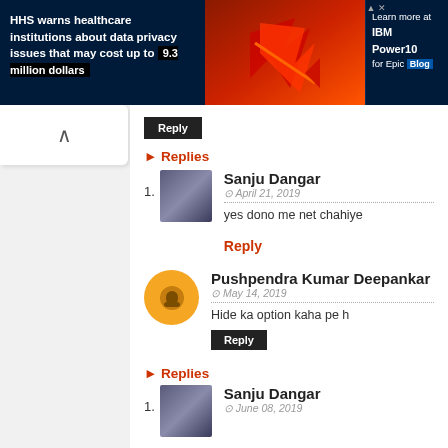[Figure (screenshot): HHS healthcare data privacy advertisement banner with man in glasses, IBM Power10 Epic Blog ad]
Reply
Replies
Sanju Dangar
April 21, 2019
yes dono me net chahiye
Reply
Pushpendra Kumar Deepankar
May 14, 2019
Hide ka option kaha pe h
Reply
Replies
Sanju Dangar
June 08, 2019